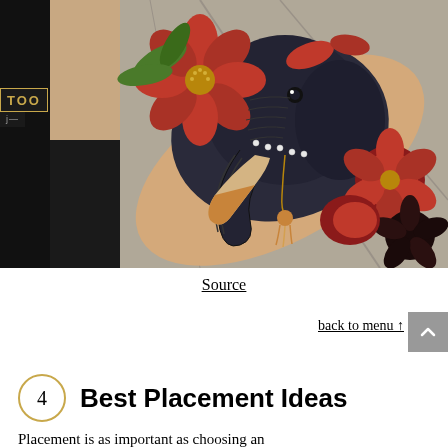[Figure (photo): A colorful neo-traditional elephant head tattoo with red flowers, leaves, ornamental chain/tassel, on a person's forearm. The elephant has dark shading with red and pink floral elements surrounding it. A partial tattoo shop logo is visible on the left edge.]
Source
back to menu ↑
4  Best Placement Ideas
Placement is as important as choosing an